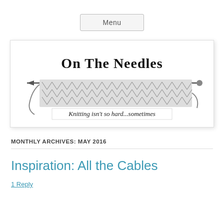Menu
[Figure (illustration): On The Needles blog banner: a knitting needle with stitches on it, text 'On The Needles' above and 'Knitting isn't so hard...sometimes' below, black and white illustration]
MONTHLY ARCHIVES: MAY 2016
Inspiration: All the Cables
1 Reply